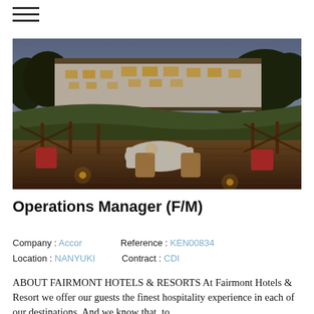≡ (hamburger menu icon)
[Figure (photo): Aerial/outdoor dusk photo of a large white resort hotel building lit from within on a hillside, with a foreground outdoor dining deck featuring wooden railings, candles, a white-clothed table with chairs including red plaid cushions, at twilight.]
Operations Manager (F/M)
Company : Accor    Reference : KEN00834
Location :  NANYUKI     Contract : CDI
ABOUT FAIRMONT HOTELS & RESORTS At Fairmont Hotels & Resort we offer our guests the finest hospitality experience in each of our destinations. And we know that, to